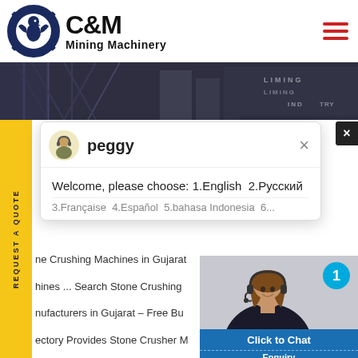[Figure (logo): C&M Mining Machinery logo with eagle/gear icon in blue circle and bold black C&M text with Mining Machinery subtitle]
[Figure (photo): Banner image of industrial/mining machinery facility with LIMING INDUSTRY text visible]
[Figure (screenshot): Chat popup overlay with avatar icon for 'peggy', welcome message in English and Russian, partial webpage text about Stone Crushing Machines in Gujarat, and agent photo with Click to Chat button]
ne Crushing Machines in Gujarat ... hines ... Search Stone Crushing nufacturers in Gujarat – Free Bu ectory Provides Stone Crusher M Manufacturers,Gujarat B2B Market quote for stone crusher machine in Below is some information about th
Welcome, please choose: 1.English  2.Русский
3.Française  4.Español  5.bahasa Indonesia  6...
Click to Chat
Enquiry